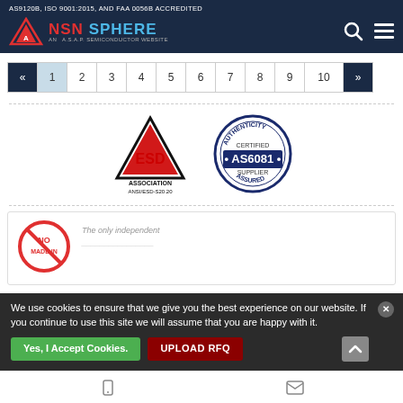AS9120B, ISO 9001:2015, AND FAA 0056B ACCREDITED
[Figure (logo): NSN Sphere logo - AN A.S.A.P. SEMICONDUCTOR WEBSITE with search and menu icons]
« 1 2 3 4 5 6 7 8 9 10 »
[Figure (logo): ESD Association ANSI/ESD-S20.20 certification logo and AS6081 Authenticity Certified Supplier Assured badge]
[Figure (illustration): No China sourcing icon (red circle with slash) with text 'NO MADE IN' and italic text 'The only independent...']
We use cookies to ensure that we give you the best experience on our website. If you continue to use this site we will assume that you are happy with it.
Yes, I Accept Cookies.   UPLOAD RFQ